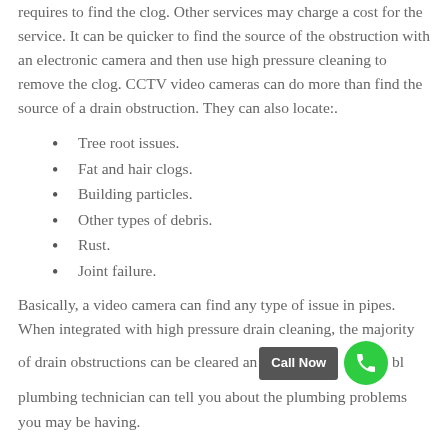requires to find the clog. Other services may charge a cost for the service. It can be quicker to find the source of the obstruction with an electronic camera and then use high pressure cleaning to remove the clog. CCTV video cameras can do more than find the source of a drain obstruction. They can also locate:.
Tree root issues.
Fat and hair clogs.
Building particles.
Other types of debris.
Rust.
Joint failure.
Basically, a video camera can find any type of issue in pipes. When integrated with high pressure drain cleaning, the majority of drain obstructions can be cleared and a plumbing technician can tell you about the plumbing problems you may be having.